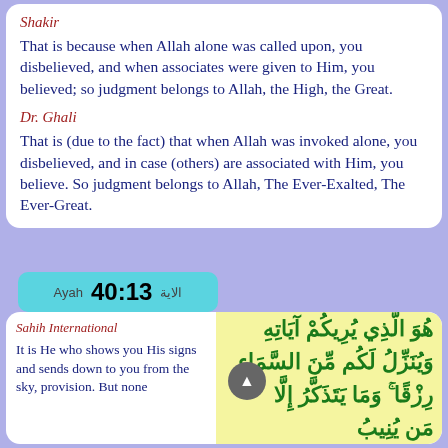Shakir
That is because when Allah alone was called upon, you disbelieved, and when associates were given to Him, you believed; so judgment belongs to Allah, the High, the Great.
Dr. Ghali
That is (due to the fact) that when Allah was invoked alone, you disbelieved, and in case (others) are associated with Him, you believe. So judgment belongs to Allah, The Ever-Exalted, The Ever-Great.
Ayah  40:13  الاية
Sahih International
It is He who shows you His signs and sends down to you from the sky, provision. But none
هُوَ الَّذِي يُرِيكُمْ آيَاتِهِ وَيُنَزِّلُ لَكُم مِّنَ السَّمَاءِ رِزْقًا ۚ وَمَا يَتَذَكَّرُ إِلَّا مَن يُنِيبُ